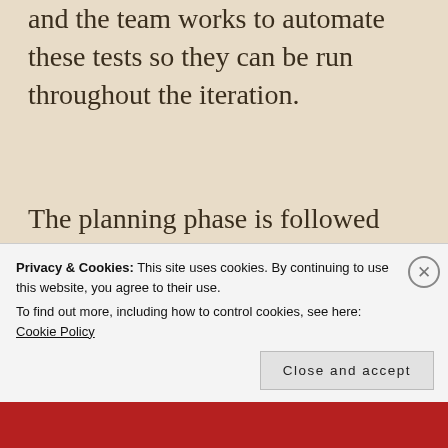and the team works to automate these tests so they can be run throughout the iteration.
The planning phase is followed by the productionizing phase, during which the code is certified for release. Certified means the code passes all customer tests plus nonfunctional requirements
Privacy & Cookies: This site uses cookies. By continuing to use this website, you agree to their use. To find out more, including how to control cookies, see here: Cookie Policy
Close and accept